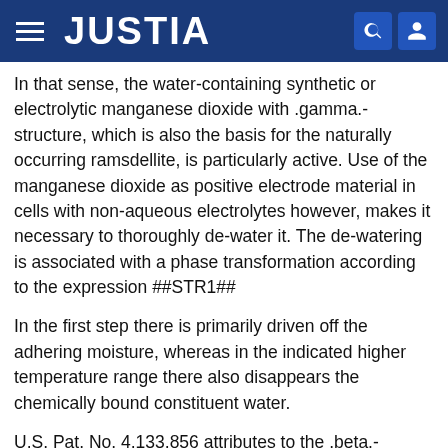JUSTIA
In that sense, the water-containing synthetic or electrolytic manganese dioxide with .gamma.-structure, which is also the basis for the naturally occurring ramsdellite, is particularly active. Use of the manganese dioxide as positive electrode material in cells with non-aqueous electrolytes however, makes it necessary to thoroughly de-water it. The de-watering is associated with a phase transformation according to the expression ##STR1##
In the first step there is primarily driven off the adhering moisture, whereas in the indicated higher temperature range there also disappears the chemically bound constituent water.
U.S. Pat. No. 4,133,856 attributes to the .beta.-MnO.sub.2, which is obtained from .gamma.-MnO.sub.2 by heat treatment at temperatures of